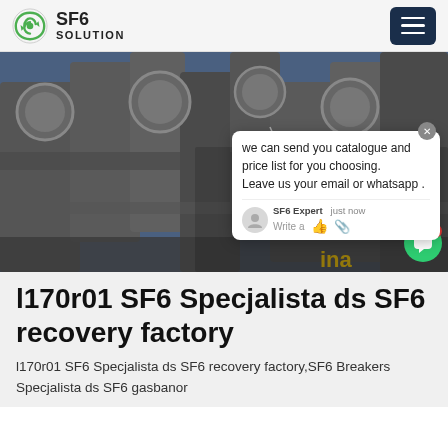SF6 SOLUTION
[Figure (photo): Industrial worker in safety gear working on large SF6 gas equipment pipes and cylinders at a power facility. A chat popup overlay shows: 'we can send you catalogue and price list for you choosing. Leave us your email or whatsapp .' with SF6 Expert label and 'just now' timestamp.]
l170r01 SF6 Specjalista ds SF6 recovery factory
l170r01 SF6 Specjalista ds SF6 recovery factory,SF6 Breakers Specjalista ds SF6 gasbanor